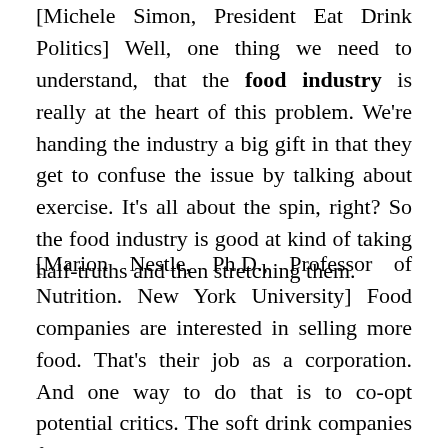[Michele Simon, President Eat Drink Politics] Well, one thing we need to understand, that the food industry is really at the heart of this problem. We're handing the industry a big gift in that they get to confuse the issue by talking about exercise. It's all about the spin, right? So the food industry is good at kind of taking half-truths and then stretching them.
[Marion Nestle, Ph.D., Professor of Nutrition. New York University] Food companies are interested in selling more food. That's their job as a corporation. And one way to do that is to co-opt potential critics. The soft drink companies fund research in universities. They donate to professional societies. And, in fact, I just saw a new major analysis that says